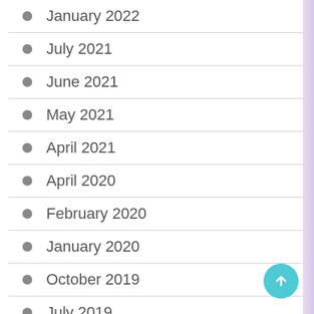January 2022
July 2021
June 2021
May 2021
April 2021
April 2020
February 2020
January 2020
October 2019
July 2019